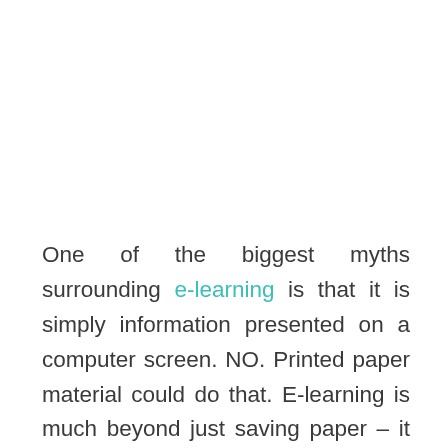One of the biggest myths surrounding e-learning is that it is simply information presented on a computer screen. NO. Printed paper material could do that. E-learning is much beyond just saving paper – it is the realization of the full potential of instructional design by harnessing the functionalities provided by IT, such as interactivity, animations, call to actions, etc., in a manner that takes care of the cognitive load on learners. So, lengthy PDFs